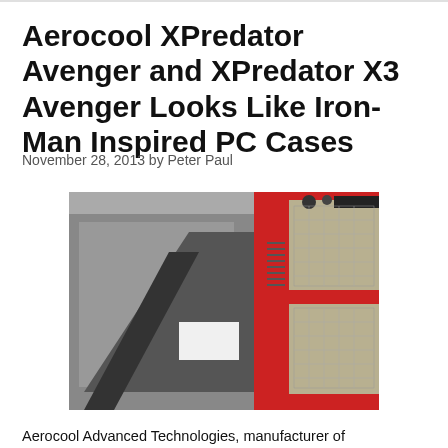Aerocool XPredator Avenger and XPredator X3 Avenger Looks Like Iron-Man Inspired PC Cases
November 28, 2013 by Peter Paul
[Figure (photo): Product photo of the Aerocool XPredator Avenger PC case, showing a red and gold colored gaming PC chassis with mesh panels and angular design]
Aerocool Advanced Technologies, manufacturer of